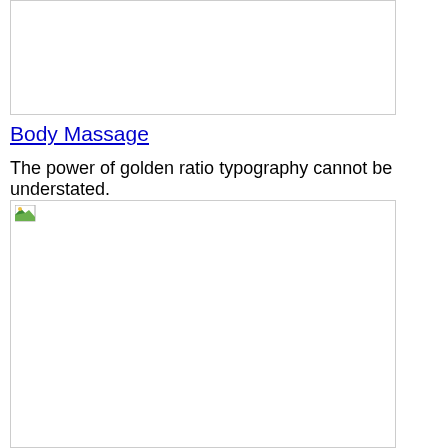[Figure (photo): Image placeholder with broken image icon, top portion of page]
Body Massage
The power of golden ratio typography cannot be understated.
[Figure (photo): Image placeholder with broken image icon, bottom portion of page]